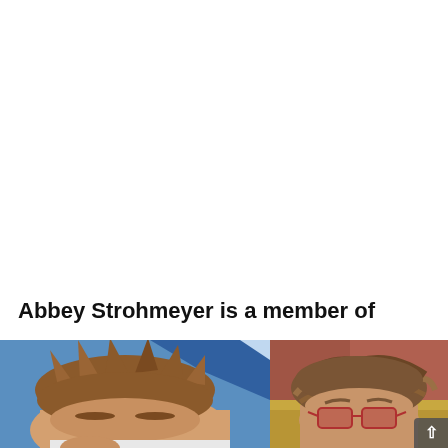Abbey Strohmeyer is a member of
[Figure (photo): Two cropped portrait photos side by side. Left photo shows a person with spiky reddish-brown hair against a blue background. Right photo shows a person with wavy brown hair wearing red-tinted glasses against a reddish-brown background.]